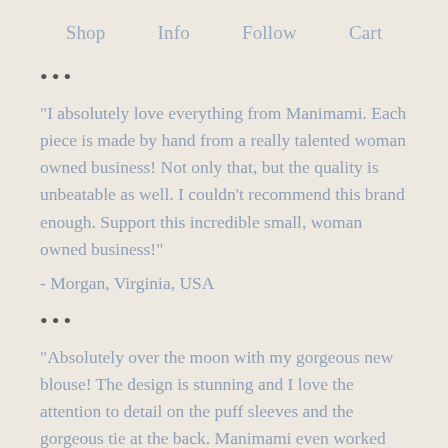Shop   Info   Follow   Cart
•••
"I absolutely love everything from Manimami. Each piece is made by hand from a really talented woman owned business! Not only that, but the quality is unbeatable as well. I couldn't recommend this brand enough. Support this incredible small, woman owned business!"
- Morgan, Virginia, USA
•••
"Absolutely over the moon with my gorgeous new blouse! The design is stunning and I love the attention to detail on the puff sleeves and the gorgeous tie at the back. Manimami even worked